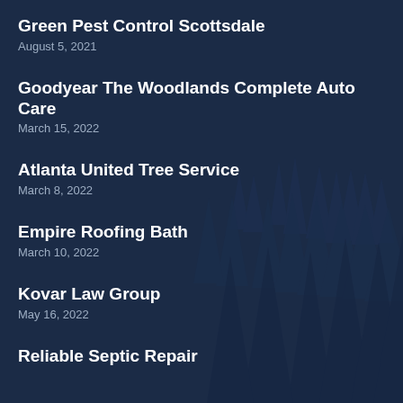[Figure (illustration): Dark navy blue background with silhouetted pine/fir trees in a misty forest scene]
Green Pest Control Scottsdale
August 5, 2021
Goodyear The Woodlands Complete Auto Care
March 15, 2022
Atlanta United Tree Service
March 8, 2022
Empire Roofing Bath
March 10, 2022
Kovar Law Group
May 16, 2022
Reliable Septic Repair